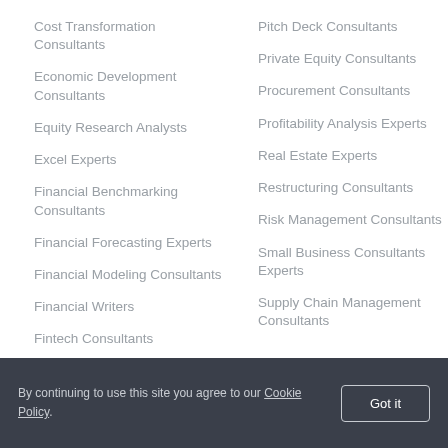Cost Transformation Consultants
Economic Development Consultants
Equity Research Analysts
Excel Experts
Financial Benchmarking Consultants
Financial Forecasting Experts
Financial Modeling Consultants
Financial Writers
Fintech Consultants
Pitch Deck Consultants
Private Equity Consultants
Procurement Consultants
Profitability Analysis Experts
Real Estate Experts
Restructuring Consultants
Risk Management Consultants
Small Business Consultants Experts
Supply Chain Management Consultants
By continuing to use this site you agree to our Cookie Policy.